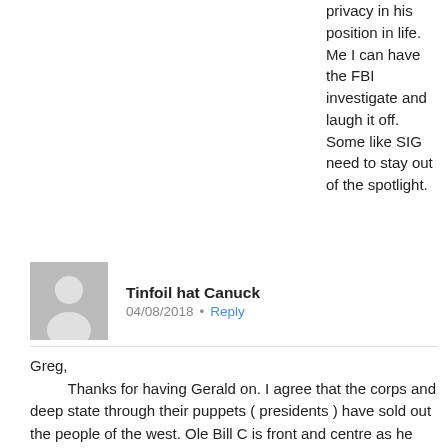privacy in his position in life. Me I can have the FBI investigate and laugh it off. Some like SIG need to stay out of the spotlight.
Tinfoil hat Canuck   04/08/2018 • Reply
Greg,
    Thanks for having Gerald on. I agree that the corps and deep state through their puppets ( presidents ) have sold out the people of the west. Ole Bill C is front and centre as he created the casino by dismantling Glass-Steaglle for the banksters and corporate barons. Then of course, with eyes on China's potential billion consumers he gave his corporate masters ( and their shareholders ) the green light to move the